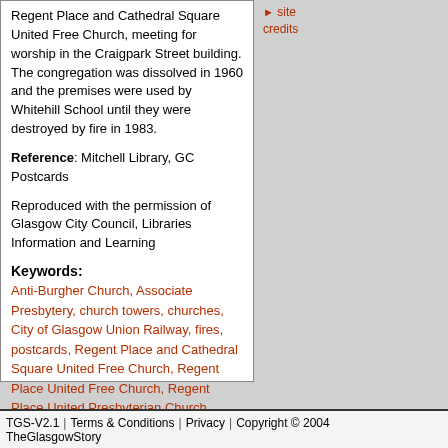Regent Place and Cathedral Square United Free Church, meeting for worship in the Craigpark Street building. The congregation was dissolved in 1960 and the premises were used by Whitehill School until they were destroyed by fire in 1983.
Reference: Mitchell Library, GC Postcards
Reproduced with the permission of Glasgow City Council, Libraries Information and Learning
Keywords: Anti-Burgher Church, Associate Presbytery, church towers, churches, City of Glasgow Union Railway, fires, postcards, Regent Place and Cathedral Square United Free Church, Regent Place United Free Church, Regent Place United Presbyterian Church, Secession Church, United Free Church of Scotland, Whitehill School
Return to top
site credits
TGS-V2.1 | Terms & Conditions | Privacy | Copyright © 2004 TheGlasgowStory